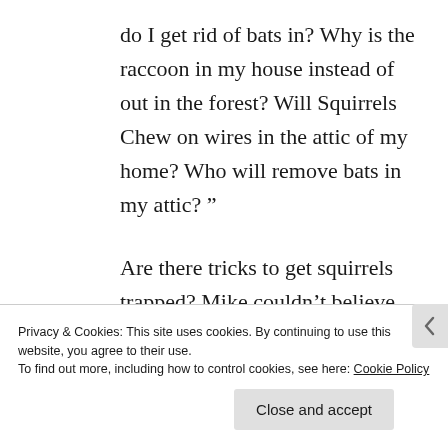do I get rid of bats in? Why is the raccoon in my house instead of out in the forest? Will Squirrels Chew on wires in the attic of my home? Who will remove bats in my attic? ”
Are there tricks to get squirrels trapped? Mike couldn’t believe when saw the Raccoon in the
Privacy & Cookies: This site uses cookies. By continuing to use this website, you agree to their use.
To find out more, including how to control cookies, see here: Cookie Policy